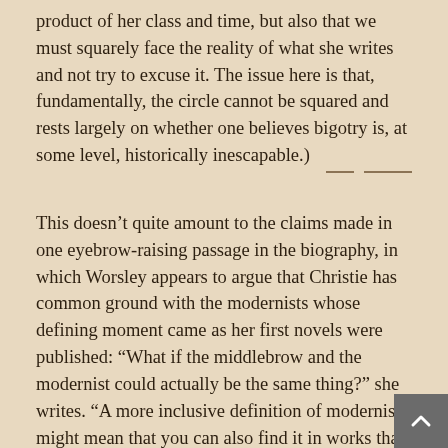product of her class and time, but also that we must squarely face the reality of what she writes and not try to excuse it. The issue here is that, fundamentally, the circle cannot be squared and rests largely on whether one believes bigotry is, at some level, historically inescapable.)
This doesn't quite amount to the claims made in one eyebrow-raising passage in the biography, in which Worsley appears to argue that Christie has common ground with the modernists whose defining moment came as her first novels were published: “What if the middlebrow and the modernist could actually be the same thing?” she writes. “A more inclusive definition of modernism might mean that you can also find it in works that don’t necessarily bludgeon you in the face with the shock of the new in the manner of Ulysses.” If you are going to rescue one writer from misunderstanding, it’s as well not to visit the same